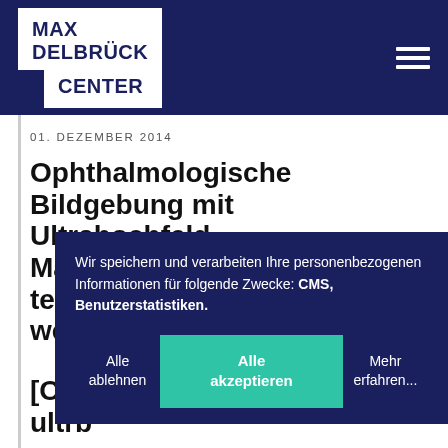MAX DELBRÜCK CENTER
01. DEZEMBER 2014
Ophthalmologische Bildgebung mit Ultrahochfeld-Magnetresonanztomografie: technische Innovationen und wegweisende Anwendungen [Ophthalmologische Bildgebung mit ultrahochfeld-magnetresonanz-technologie — technische innovationen und fronti…]
Wir speichern und verarbeiten Ihre personenbezogenen Informationen für folgende Zwecke: CMS, Benutzerstatistiken.
Alle ablehnen
Alle akzeptieren
Mehr erfahren...